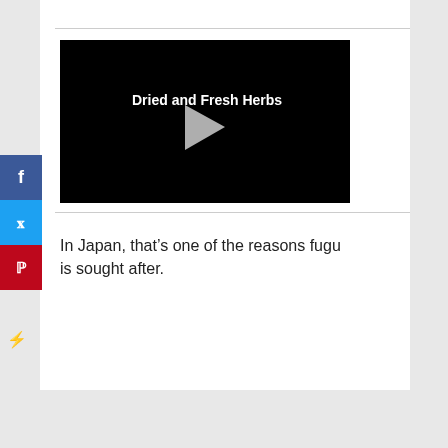[Figure (screenshot): Video thumbnail with black background showing title 'Dried and Fresh Herbs' with a play button in the center]
In Japan, that’s one of the reasons fugu is sought after.